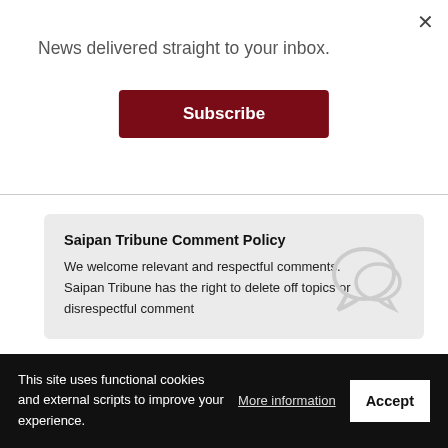News delivered straight to your inbox.
Subscribe
Saipan Tribune Comment Policy
We welcome relevant and respectful comments. Saipan Tribune has the right to delete off topics or disrespectful comment
Comments  Community  Login
Favorite  Sort by Newest
This site uses functional cookies and external scripts to improve your experience.
More information
Accept